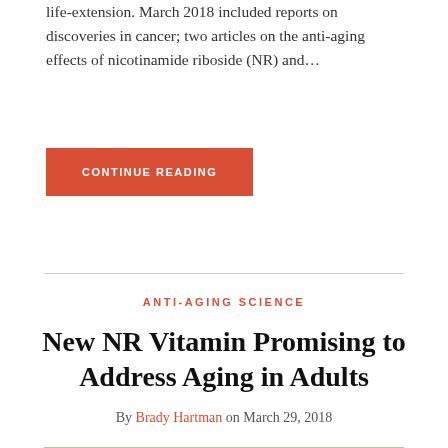life-extension. March 2018 included reports on discoveries in cancer; two articles on the anti-aging effects of nicotinamide riboside (NR) and…
CONTINUE READING
ANTI-AGING SCIENCE
New NR Vitamin Promising to Address Aging in Adults
By Brady Hartman on March 29, 2018
[Figure (photo): Person's hand with glasses resting on a surface, plant in background]